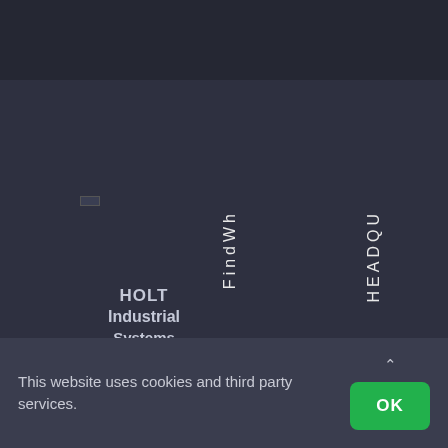[Figure (screenshot): Website screenshot showing a dark-themed navigation page for HOLT Industrial Systems with vertical text labels 'FindWh' and 'HEADQU', a small icon, and a cookie consent banner at the bottom.]
HOLT Industrial Systems
FindWh
HEADQU
This website uses cookies and third party services.